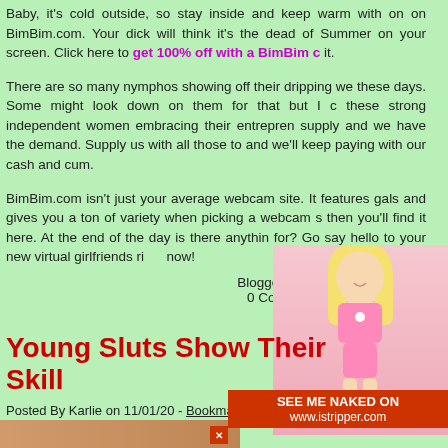Baby, it's cold outside, so stay inside and keep warm with on on BimBim.com. Your dick will think it's the dead of Summer on your screen. Click here to get 100% off with a BimBim c it.
There are so many nymphos showing off their dripping we these days. Some might look down on them for that but I c these strong independent women embracing their entrepren supply and we have the demand. Supply us with all those to and we'll keep paying with our cash and cum.
BimBim.com isn't just your average webcam site. It features gals and gives you a ton of variety when picking a webcam s then you'll find it here. At the end of the day is there anythin for? Go say hello to your new virtual girlfriends right now!
Blogged Under: Big Tit Webcams
0 Comments | Write a comment
Young Sluts Show Their Skills
Posted By Karlie on 11/01/20 - Bookmark Pure Teen Sex
[Figure (photo): Blonde woman in pink lingerie overlay on the right side of the page]
[Figure (infographic): istripper.com SEE ME NAKED ON www.istripper.com banner ad with close button]